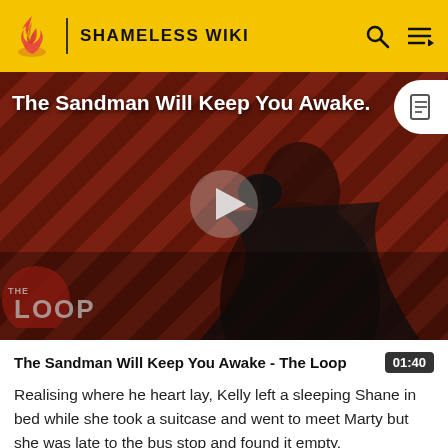SHAMELESS WIKI
[Figure (screenshot): Video thumbnail for 'The Sandman Will Keep You Awake - The Loop', showing a dark-clad figure with a raven against a red diagonal striped background, with a play button overlay and THE LOOP watermark.]
The Sandman Will Keep You Awake - The Loop
Realising where he heart lay, Kelly left a sleeping Shane in bed while she took a suitcase and went to meet Marty but she was late to the bus stop and found it empty,